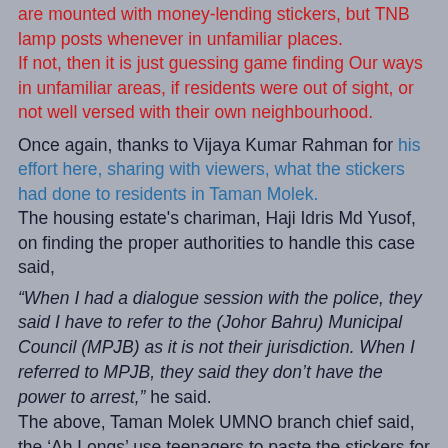are mounted with money-lending stickers, but TNB lamp posts whenever in unfamiliar places. If not, then it is just guessing game finding Our ways in unfamiliar areas, if residents were out of sight, or not well versed with their own neighbourhood.
Once again, thanks to Vijaya Kumar Rahman for his effort here, sharing with viewers, what the stickers had done to residents in Taman Molek. The housing estate's chariman, Haji Idris Md Yusof, on finding the proper authorities to handle this case said,
“When I had a dialogue session with the police, they said I have to refer to the (Johor Bahru) Municipal Council (MPJB) as it is not their jurisdiction. When I referred to MPJB, they said they don’t have the power to arrest,” he said. The above, Taman Molek UMNO branch chief said, the ‘Ah Longs’ use teenagers to paste the stickers for them, who are not aware of the traffic rules. They stick them at any stickable posts they see.
“Once there was a Bengali woman who questioned a man